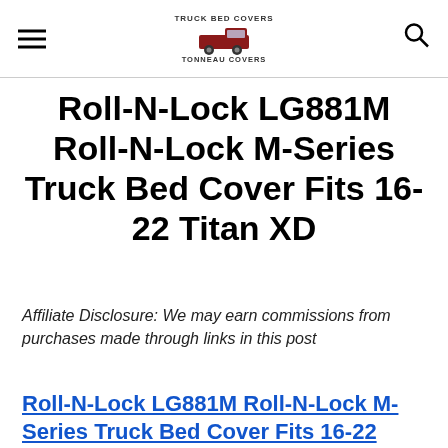Truck Bed Covers Tonneau Covers (logo with truck icon)
Roll-N-Lock LG881M Roll-N-Lock M-Series Truck Bed Cover Fits 16-22 Titan XD
Affiliate Disclosure: We may earn commissions from purchases made through links in this post
Roll-N-Lock LG881M Roll-N-Lock M-Series Truck Bed Cover Fits 16-22 (truncated)